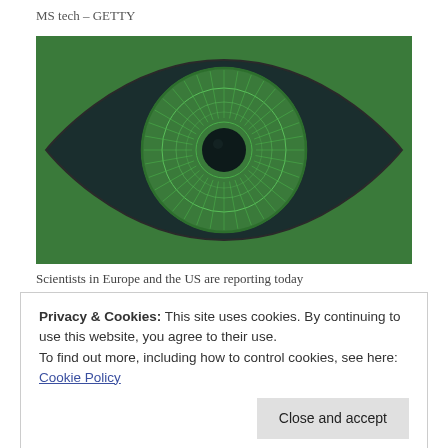MS tech – GETTY
[Figure (illustration): Stylized green eye illustration on a dark green background, showing a detailed iris with radial patterns and a dark pupil, shaped like a horizontal eye with pointed corners.]
Scientists in Europe and the US are reporting today
Privacy & Cookies: This site uses cookies. By continuing to use this website, you agree to their use.
To find out more, including how to control cookies, see here: Cookie Policy
The 58-year-old man was blind, barely able to